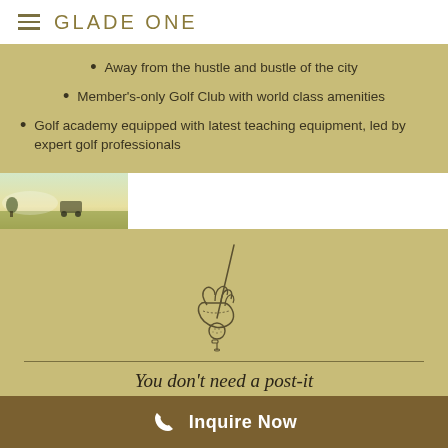GLADE ONE
Away from the hustle and bustle of the city
Member's-only Golf Club with world class amenities
Golf academy equipped with latest teaching equipment, led by expert golf professionals
[Figure (photo): Small thumbnail photo of a golf course landscape with golf cart]
[Figure (illustration): Line drawing illustration of a hand holding a golf club with a golf ball]
You don't need a post-it
Inquire Now